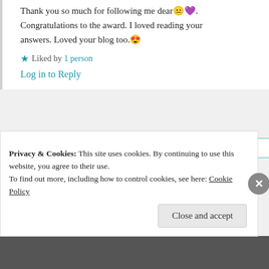Thank you so much for following me dear 😐💜. Congratulations to the award. I loved reading your answers. Loved your blog too. 😍
★ Liked by 1 person
Log in to Reply
Suma Reddy
24th Jun 2021 at 11:41 am
Privacy & Cookies: This site uses cookies. By continuing to use this website, you agree to their use.
To find out more, including how to control cookies, see here: Cookie Policy
Close and accept